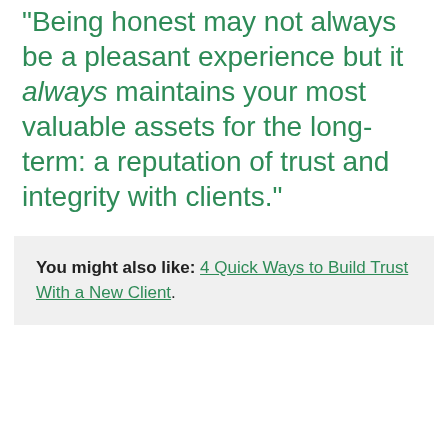"Being honest may not always be a pleasant experience but it always maintains your most valuable assets for the long-term: a reputation of trust and integrity with clients."
You might also like: 4 Quick Ways to Build Trust With a New Client.